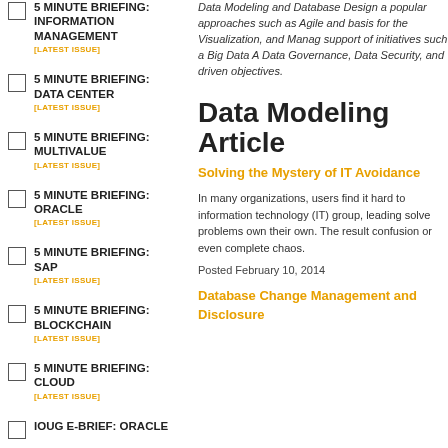5 MINUTE BRIEFING: INFORMATION MANAGEMENT [LATEST ISSUE]
5 MINUTE BRIEFING: DATA CENTER [LATEST ISSUE]
5 MINUTE BRIEFING: MULTIVALUE [LATEST ISSUE]
5 MINUTE BRIEFING: ORACLE [LATEST ISSUE]
5 MINUTE BRIEFING: SAP [LATEST ISSUE]
5 MINUTE BRIEFING: BLOCKCHAIN [LATEST ISSUE]
5 MINUTE BRIEFING: CLOUD [LATEST ISSUE]
IOUG E-BRIEF: ORACLE
Data Modeling and Database Design a popular approaches such as Agile and basis for the Visualization, and Manag support of initiatives such a Big Data A Data Governance, Data Security, and driven objectives.
Data Modeling Article
Solving the Mystery of IT Avoidance
In many organizations, users find it hard to information technology (IT) group, leading solve problems own their own. The result confusion or even complete chaos.
Posted February 10, 2014
Database Change Management and Disclosure